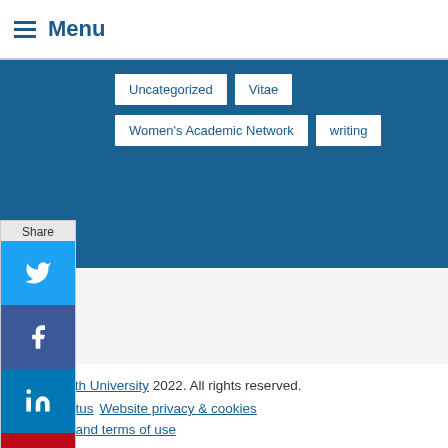Menu
Uncategorized
Vitae
Women's Academic Network
writing
[Figure (screenshot): Social share sidebar with Twitter, Facebook, LinkedIn, Pinterest, Email, and Share buttons]
Bournemouth University 2022. All rights reserved. iritable status   Website privacy & cookies Copyright and terms of use